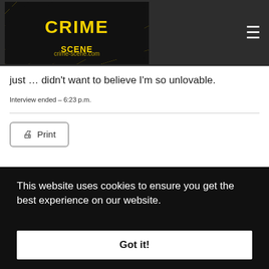[Figure (logo): Crime Scene website logo — yellow and black hazard-stripe styled logo with text 'CRIME SCENE' in bold yellow letters on black background with diagonal hazard stripes]
just … didn't want to believe I'm so unlovable.
Interview ended – 6:23 p.m.
Print
This website uses cookies to ensure you get the best experience on our website.
Got it!